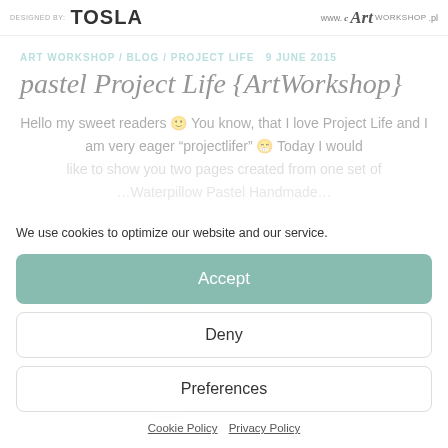DESIGNED BY: TOSLA  www.cArtworkshop.pl
ART WORKSHOP / BLOG / PROJECT LIFE  9 JUNE 2015
pastel Project Life {ArtWorkshop}
Hello my sweet readers 🙂 You know, that I love Project Life and I am very eager "projectlifer" 😀 Today I would like to show you two pages created from one set of
[Figure (photo): Grid of scrapbook/project life photo cards, partially visible behind cookie consent overlay]
We use cookies to optimize our website and our service.
Accept
Deny
Preferences
Cookie Policy   Privacy Policy